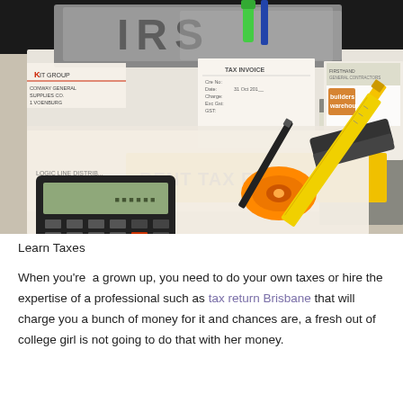[Figure (photo): A photo of a cluttered desk with tax-related items including a calculator, tax invoice papers, a book labeled 'INCOME TAX', a folder labeled 'RENT TAX FILE', a pen, ruler, stapler, correction tape, and various documents. Visible text includes 'IRS', 'KIT GROUP', 'CONWAY GENERAL SUPPLIES CO', 'TAX INVOICE', 'INCOME TAX', 'RENT TAX FILE', 'LOGIC LINE DISTRIB', 'Builders Warehouse'.]
Learn Taxes
When you're  a grown up, you need to do your own taxes or hire the expertise of a professional such as tax return Brisbane that will charge you a bunch of money for it and chances are, a fresh out of college girl is not going to do that with her money.